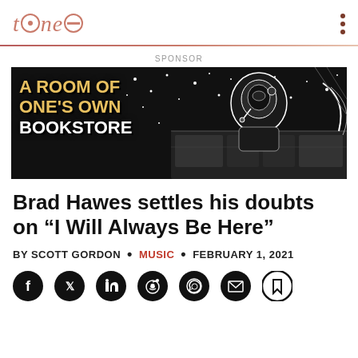tone
SPONSOR
[Figure (illustration): Advertisement banner for 'A Room of One's Own Bookstore' with comic-style black and white illustration of a person at a control panel in space, with yellow text overlay]
Brad Hawes settles his doubts on “I Will Always Be Here”
BY SCOTT GORDON • MUSIC • FEBRUARY 1, 2021
[Figure (infographic): Social share icons: Facebook, Twitter, LinkedIn, Reddit, WhatsApp, Email, Bookmark]